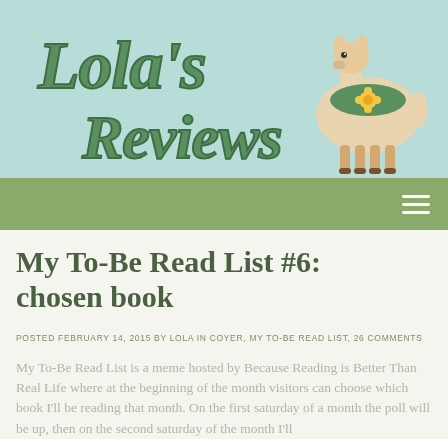[Figure (logo): Lola's Reviews logo with illustrated llama on light teal background. Cursive green text reads 'Lola's Reviews'. A cartoon llama with a yellow flower on its saddle stands on the right side.]
Navigation bar with hamburger menu icon
My To-Be Read List #6: chosen book
POSTED FEBRUARY 14, 2015 BY LOLA IN COYER, MY TO-BE READ LIST, 26 COMMENTS
Privacy & Cookies: This site uses cookies. By continuing to use this website, you agree to their use.
To find out more, including how to control cookies, see here: Privacy Policy
My To-Be Read List is a meme hosted by Because Reading is Better Than Real Life where at the beginning of the month visitors can choose which book I'll be reading that month. On the first saturday of a month the poll will be up, then on the second saturday of the month I'll